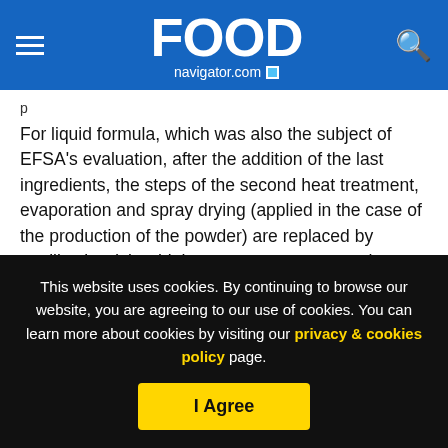FOOD navigator.com
For liquid formula, which was also the subject of EFSA’s evaluation, after the addition of the last ingredients, the steps of the second heat treatment, evaporation and spray drying (applied in the case of the production of the powder) are replaced by sterilisation (ultra-high temperature treatment) before aseptic homogenisation, and aseptic filling.
The decision is the latest step in a regulatory process that started back in July 2019, where the technical dossier was first
This website uses cookies. By continuing to browse our website, you are agreeing to our use of cookies. You can learn more about cookies by visiting our privacy & cookies policy page.
I Agree